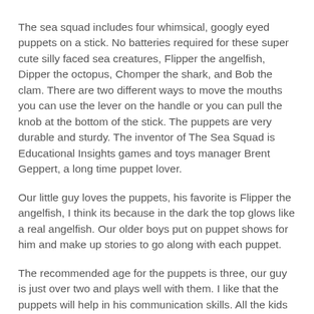The sea squad includes four whimsical, googly eyed puppets on a stick. No batteries required for these super cute silly faced sea creatures, Flipper the angelfish, Dipper the octopus, Chomper the shark, and Bob the clam. There are two different ways to move the mouths you can use the lever on the handle or you can pull the knob at the bottom of the stick. The puppets are very durable and sturdy. The inventor of The Sea Squad is Educational Insights games and toys manager Brent Geppert, a long time puppet lover.
Our little guy loves the puppets, his favorite is Flipper the angelfish, I think its because in the dark the top glows like a real angelfish. Our older boys put on puppet shows for him and make up stories to go along with each puppet.
The recommended age for the puppets is three, our guy is just over two and plays well with them. I like that the puppets will help in his communication skills. All the kids use their imagination with them, making up stories.,. and that helps to build on their creativity.
You can buy Educational Insights Learning Toys via EI